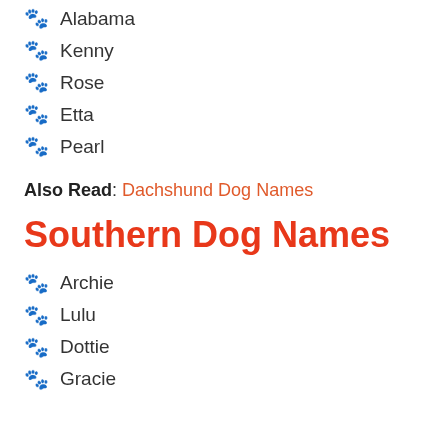🐾 Alabama
🐾 Kenny
🐾 Rose
🐾 Etta
🐾 Pearl
Also Read: Dachshund Dog Names
Southern Dog Names
🐾 Archie
🐾 Lulu
🐾 Dottie
🐾 Gracie